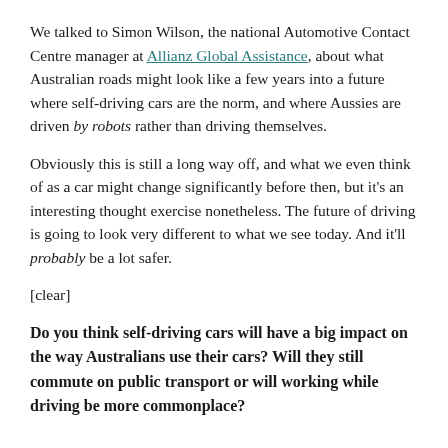We talked to Simon Wilson, the national Automotive Contact Centre manager at Allianz Global Assistance, about what Australian roads might look like a few years into a future where self-driving cars are the norm, and where Aussies are driven by robots rather than driving themselves.
Obviously this is still a long way off, and what we even think of as a car might change significantly before then, but it's an interesting thought exercise nonetheless. The future of driving is going to look very different to what we see today. And it'll probably be a lot safer.
[clear]
Do you think self-driving cars will have a big impact on the way Australians use their cars? Will they still commute on public transport or will working while driving be more commonplace?